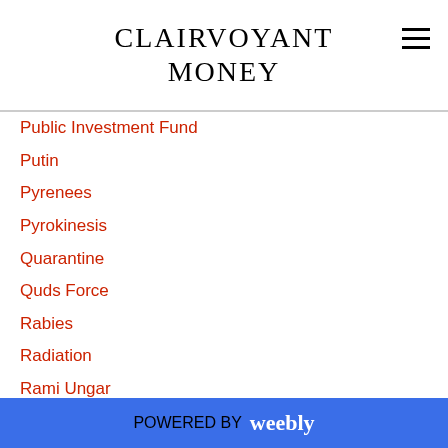CLAIRVOYANT MONEY
Public Investment Fund
Putin
Pyrenees
Pyrokinesis
Quarantine
Quds Force
Rabies
Radiation
Rami Ungar
Recep Erdogan
Recovering Stolen Money
Religion
Ren Zhengfei
Repo Market
Rex Tin R...
POWERED BY weebly